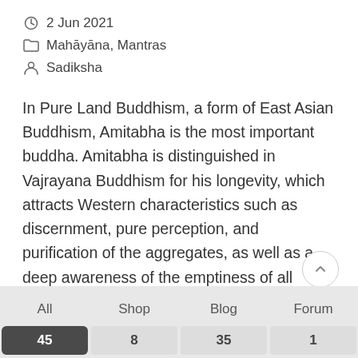2 Jun 2021
Mahāyāna, Mantras
Sadiksha
In Pure Land Buddhism, a form of East Asian Buddhism, Amitabha is the most important buddha. Amitabha is distinguished in Vajrayana Buddhism for his longevity, which attracts Western characteristics such as discernment, pure perception, and purification of the aggregates, as well as a deep awareness of the emptiness of all occurrences. Who is Amitabha Buddha? Amitabha Buddha is also known as Amitayus Buddha. According to Mahayana Buddhist scriptures, Amitabha Buddha is a celestial buddha. Amitabha
All 45 | Shop 8 | Blog 35 | Forum 1